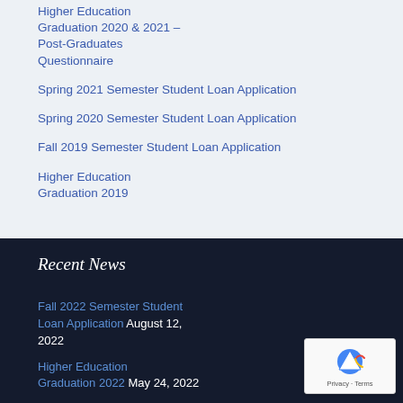Higher Education Graduation 2020 & 2021 – Post-Graduates Questionnaire
Spring 2021 Semester Student Loan Application
Spring 2020 Semester Student Loan Application
Fall 2019 Semester Student Loan Application
Higher Education Graduation 2019
Recent News
Fall 2022 Semester Student Loan Application August 12, 2022
Higher Education Graduation 2022 May 24, 2022